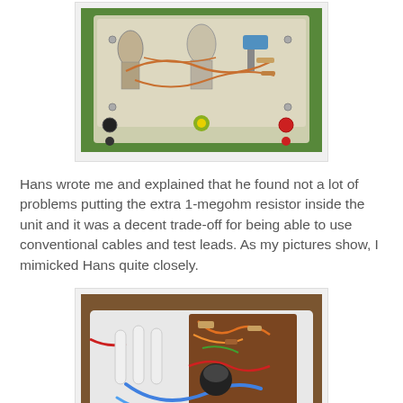[Figure (photo): Top-down photograph of an electronic unit with vacuum tubes, copper wiring, resistors, and components mounted on a cream/white painted chassis, sitting on a green surface. Red and black binding posts visible.]
Hans wrote me and explained that he found not a lot of problems putting the extra 1-megohm resistor inside the unit and it was a decent trade-off for being able to use conventional cables and test leads. As my pictures show, I mimicked Hans quite closely.
[Figure (photo): Interior photograph of an electronic unit showing vacuum tubes, colorful wiring (blue, orange, red, green, white), components on a brown/wooden board, mounted in a white tray/chassis with metal binding posts.]